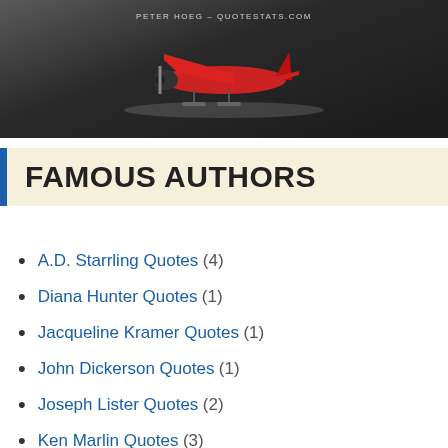[Figure (photo): A red small plane on snow/ice, dark background, with watermark text 'PETER HOEG - QUOTESTATS.COM']
FAMOUS AUTHORS
A.D. Starrling Quotes (4)
Diana Hunter Quotes (1)
Jacqueline Kramer Quotes (1)
John Dickerson Quotes (1)
Joseph Lister Quotes (2)
Ken Marlin Quotes (3)